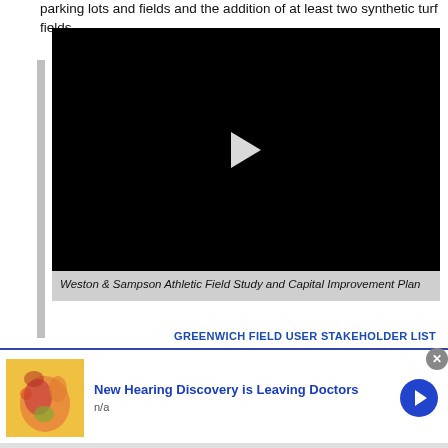parking lots and fields and the addition of at least two synthetic turf fields.
[Figure (screenshot): Black video player with white play button triangle in center, showing a paused video. Below the player is a gray caption bar.]
Weston & Sampson Athletic Field Study and Capital Improvement Plan
GREENWICH FIELD USER STAKEHOLDER LIST
[Figure (photo): Advertisement image showing a medical illustration of an ear canal in yellow and red tones.]
New Hearing Discovery is Leaving Doctors
n/a